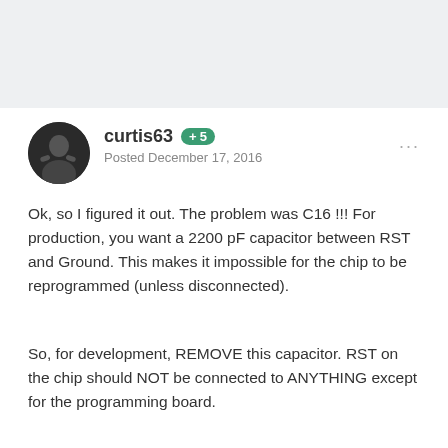curtis63  +5  Posted December 17, 2016
Ok, so I figured it out.  The problem was C16 !!!  For production, you want a 2200 pF capacitor between RST and Ground.  This makes it impossible for the chip to be reprogrammed (unless disconnected).
So, for development, REMOVE this capacitor.  RST on the chip should NOT be connected to ANYTHING except for the programming board.
My problem was that I had RST connected to Ground through a